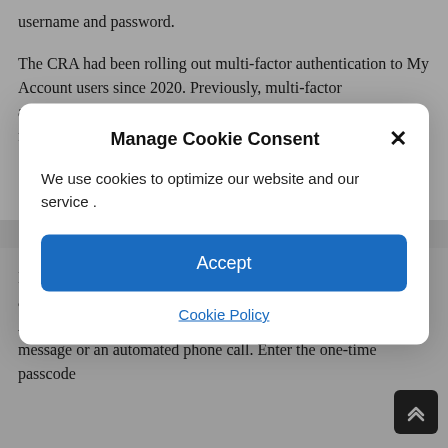username and password.

The CRA had been rolling out multi-factor authentication to My Account users since 2020. Previously, multi-factor authentication had been an optional feature. But sometime in fall of 2021, the
[Figure (screenshot): Cookie consent modal dialog with title 'Manage Cookie Consent', a close X button, text 'We use cookies to optimize our website and our service .', a blue Accept button, and a Cookie Policy link.]
If you choose the telephone option, you'll be prompted to enter a cell or a landline number. Now, when you log into My Account, the CRA will send a one-time passcode through a text message or an automated phone call. Enter the one-time passcode